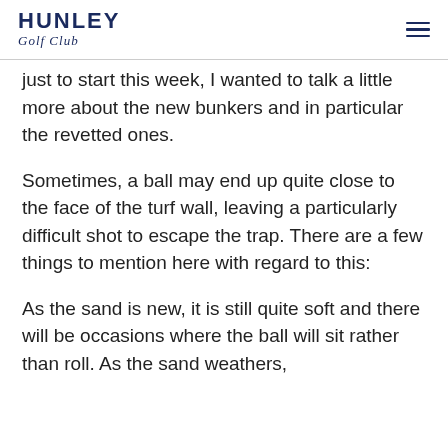HUNLEY Golf Club
just to start this week, I wanted to talk a little more about the new bunkers and in particular the revetted ones.
Sometimes, a ball may end up quite close to the face of the turf wall, leaving a particularly difficult shot to escape the trap. There are a few things to mention here with regard to this:
As the sand is new, it is still quite soft and there will be occasions where the ball will sit rather than roll. As the sand weathers,